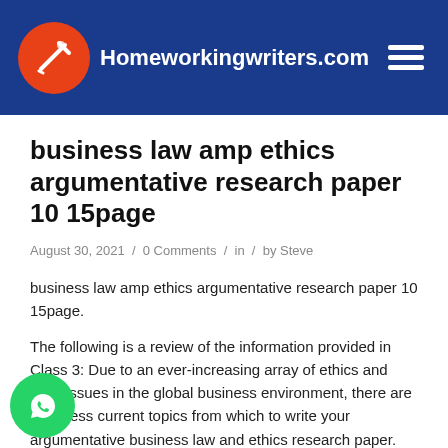Homeworkingwriters.com
business law amp ethics argumentative research paper 10 15page
August 30, 2021 / 0 Comments / in / by Steve
business law amp ethics argumentative research paper 10 15page.
The following is a review of the information provided in Class 3: Due to an ever-increasing array of ethics and legal issues in the global business environment, there are countless current topics from which to write your argumentative business law and ethics research paper.
This argumentative research paper is your opportunity to select a